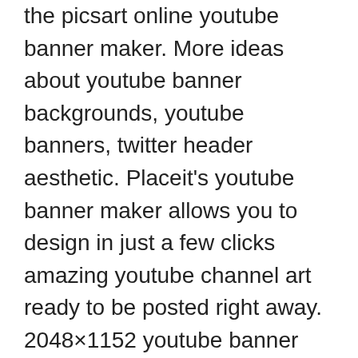the picsart online youtube banner maker. More ideas about youtube banner backgrounds, youtube banners, twitter header aesthetic. Placeit's youtube banner maker allows you to design in just a few clicks amazing youtube channel art ready to be posted right away. 2048×1152 youtube banner template psd | cyberuse for banner for youtube 3991. · aesthetic anime banner 2048×1152 channel. Jan 3, 2018 1024 × 576 0 654 93 teamoogie.deviantart.com download. Aesthetic youtube banner 1024×576 pixels novocom top from . Freshen your channel's aesthetic and grab your audience's attention. Find more items about 2048×1152 wallpaper for youtube, . Sep 20, 2020 · aesthetic youtube banner 1024×576 pixels :
More ideas about youtube banner backgrounds,